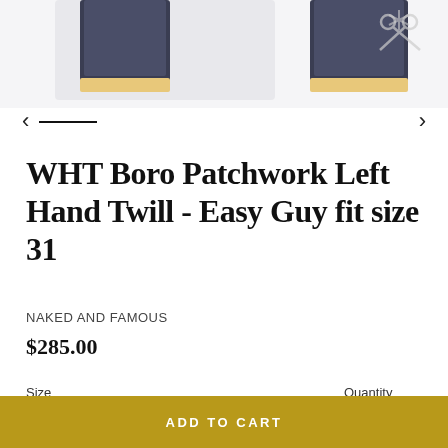[Figure (photo): Product photo of jeans folded at the cuffs, showing selvedge denim detail. Two views visible on a light background with a scissors/tag icon on the right.]
WHT Boro Patchwork Left Hand Twill - Easy Guy fit size 31
NAKED AND FAMOUS
$285.00
Size
31
Quantity
1
ADD TO CART